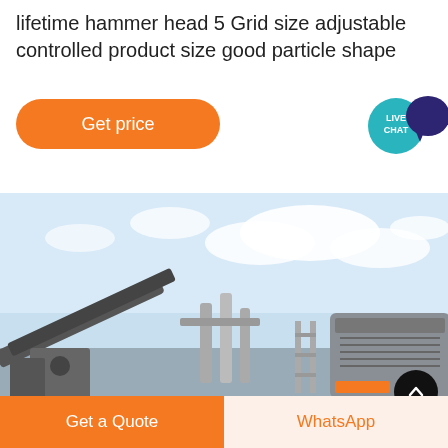lifetime hammer head 5 Grid size adjustable controlled product size good particle shape
[Figure (other): Orange rounded rectangle button labeled 'Get price']
[Figure (other): Teal circular Live Chat bubble with dark purple speech bubble icon]
[Figure (photo): Industrial crushing/screening machinery photographed outdoors against a partly cloudy blue sky]
[Figure (other): Black circular scroll-up button with upward chevron]
[Figure (other): Bottom bar with orange 'Get a Quote' button and light 'WhatsApp' button]